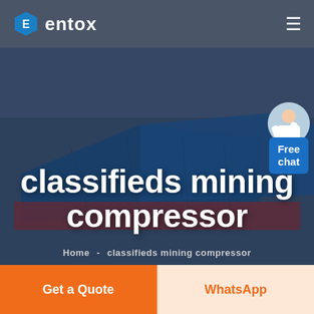entox
[Figure (photo): Aerial view of an industrial/manufacturing facility with large blue-roofed warehouse buildings, overlaid with a dark blue tint. Hero banner background image for classifieds mining compressor page.]
classifieds mining compressor
Home  -  classifieds mining compressor
Free chat
Get a Quote
WhatsApp